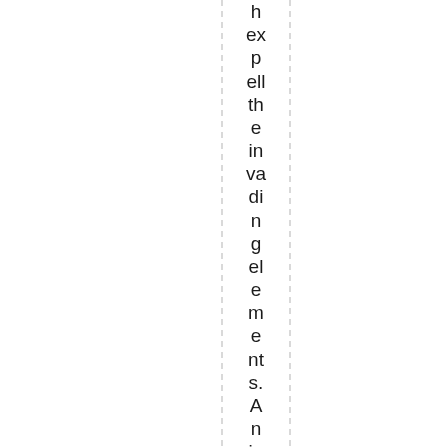h ex p ell the in va di n g el e m e nt s. A n ig n or a nt re sp o ns e to